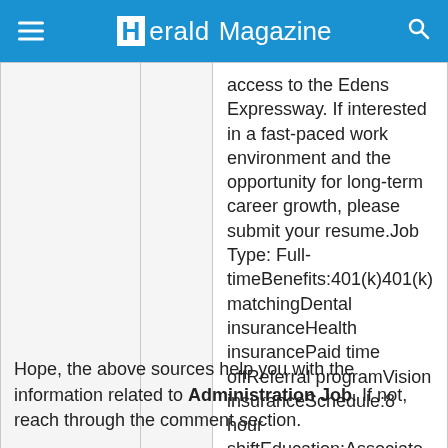Herald Magazine
access to the Edens Expressway. If interested in a fast-paced work environment and the opportunity for long-term career growth, please submit your resume.Job Type: Full-timeBenefits:401(k)401(k) matchingDental insuranceHealth insurancePaid time offReferral programVision insuranceSchedule:8 hour shiftEducation:Associate (Preferred)Work Location: One location
Hope, the above sources help you with the information related to Administration Job. If not, reach through the comment section.